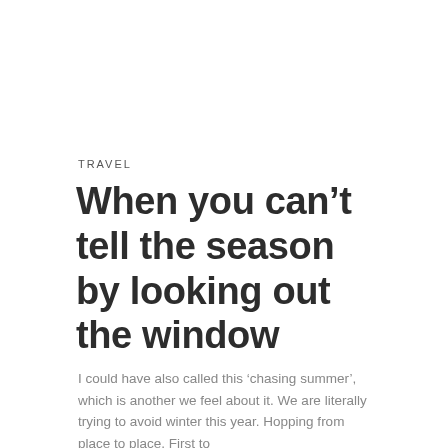TRAVEL
When you can’t tell the season by looking out the window
I could have also called this ‘chasing summer’, which is another we feel about it. We are literally trying to avoid winter this year. Hopping from place to place. First to